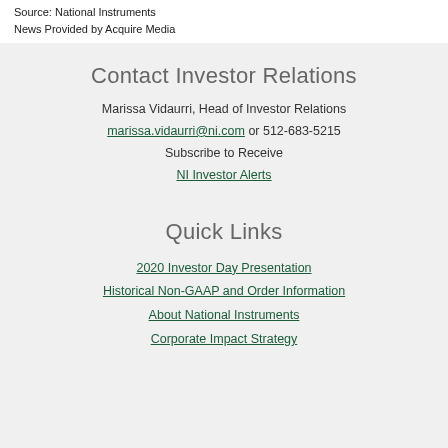Source: National Instruments
News Provided by Acquire Media
Contact Investor Relations
Marissa Vidaurri, Head of Investor Relations
marissa.vidaurri@ni.com or 512-683-5215
Subscribe to Receive
NI Investor Alerts
Quick Links
2020 Investor Day Presentation
Historical Non-GAAP and Order Information
About National Instruments
Corporate Impact Strategy